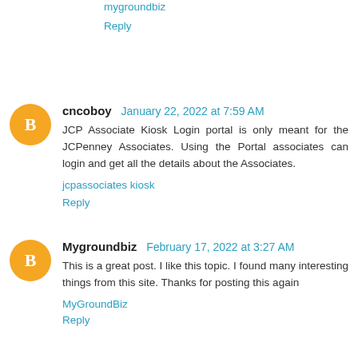mygroundbiz
Reply
cncoboy  January 22, 2022 at 7:59 AM
JCP Associate Kiosk Login portal is only meant for the JCPenney Associates. Using the Portal associates can login and get all the details about the Associates.
jcpassociates kiosk
Reply
Mygroundbiz  February 17, 2022 at 3:27 AM
This is a great post. I like this topic. I found many interesting things from this site. Thanks for posting this again
MyGroundBiz
Reply